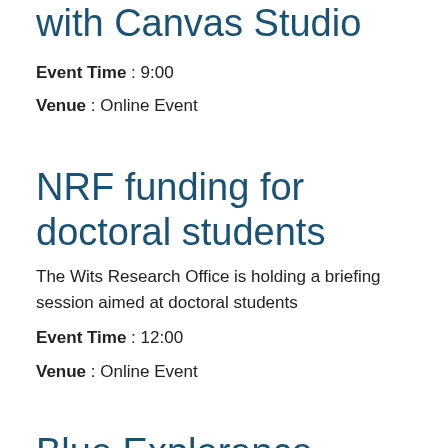with Canvas Studio
Event Time : 9:00
Venue : Online Event
NRF funding for doctoral students
The Wits Research Office is holding a briefing session aimed at doctoral students
Event Time : 12:00
Venue : Online Event
Blue Explorance Open lunch hour discussions